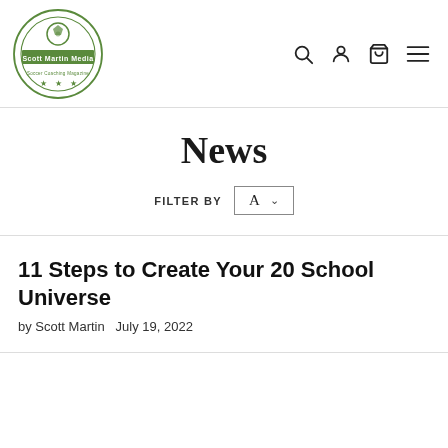[Figure (logo): Scott Martin Media circular logo with soccer ball, green border, stars, and text 'Scott Martin Media' and 'Soccer Coaching Magazine']
News
FILTER BY A
11 Steps to Create Your 20 School Universe
by Scott Martin  July 19, 2022